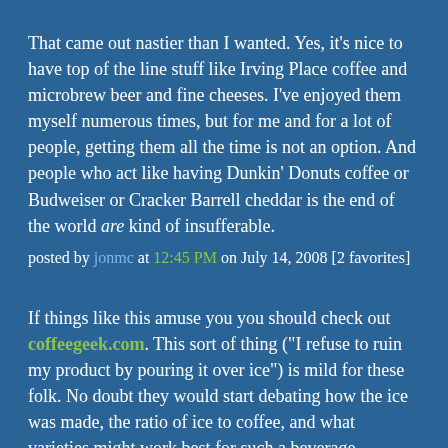That came out nastier than I wanted. Yes, it's nice to have top of the line stuff like Irving Place coffee and microbrew beer and fine cheeses. I've enjoyed them myself numerous times, but for me and for a lot of people, getting them all the time is not an option. And people who act like having Dunkin' Donuts coffee or Budweiser or Cracker Barrell cheddar is the end of the world are kind of insufferable.
posted by jonmc at 12:45 PM on July 14, 2008 [2 favorites]
If things like this amuse you you should check out coffeegeek.com. This sort of thing ("I refuse to ruin my product by pouring it over ice") is mild for these folk. No doubt they would start debating how the ice was made, the ratio of ice to coffee, and what varieties might work best for such a beverage.